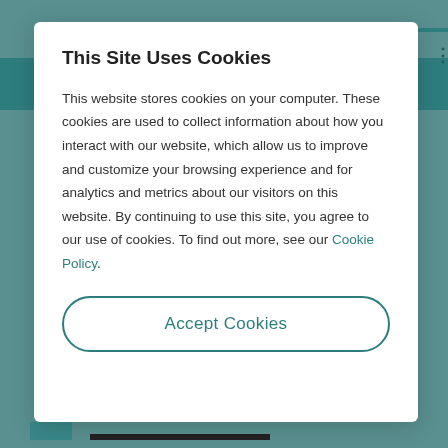This Site Uses Cookies
This website stores cookies on your computer. These cookies are used to collect information about how you interact with our website, which allow us to improve and customize your browsing experience and for analytics and metrics about our visitors on this website. By continuing to use this site, you agree to our use of cookies. To find out more, see our Cookie Policy.
Accept Cookies